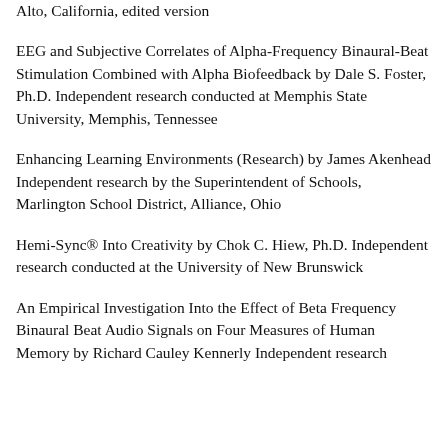Alto, California, edited version
EEG and Subjective Correlates of Alpha-Frequency Binaural-Beat Stimulation Combined with Alpha Biofeedback by Dale S. Foster, Ph.D. Independent research conducted at Memphis State University, Memphis, Tennessee
Enhancing Learning Environments (Research) by James Akenhead Independent research by the Superintendent of Schools, Marlington School District, Alliance, Ohio
Hemi-Sync® Into Creativity by Chok C. Hiew, Ph.D. Independent research conducted at the University of New Brunswick
An Empirical Investigation Into the Effect of Beta Frequency Binaural Beat Audio Signals on Four Measures of Human Memory by Richard Cauley Kennerly Independent research